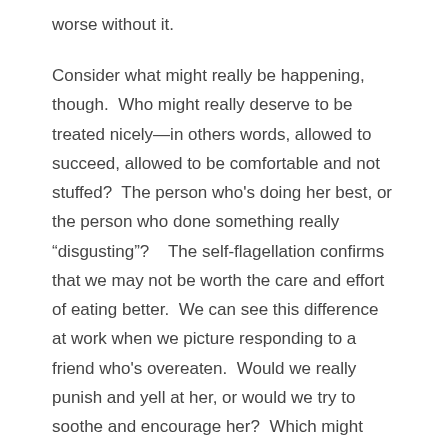worse without it.
Consider what might really be happening, though.  Who might really deserve to be treated nicely—in others words, allowed to succeed, allowed to be comfortable and not stuffed?  The person who's doing her best, or the person who done something really “disgusting”?    The self-flagellation confirms that we may not be worth the care and effort of eating better.  We can see this difference at work when we picture responding to a friend who's overeaten.  Would we really punish and yell at her, or would we try to soothe and encourage her?  Which might help more?
Also, those negative thoughts and feelings do clutter the mind. It’s hard to reflect on what happened—on how and